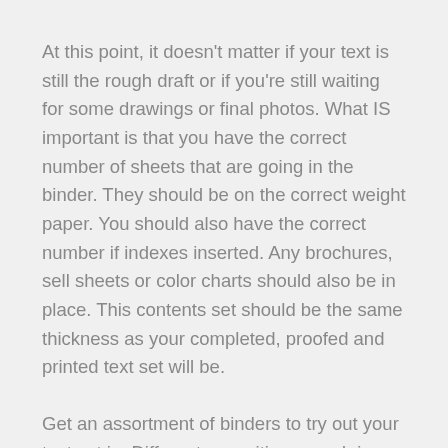At this point, it doesn't matter if your text is still the rough draft or if you're still waiting for some drawings or final photos. What IS important is that you have the correct number of sheets that are going in the binder. They should be on the correct weight paper. You should also have the correct number if indexes inserted. Any brochures, sell sheets or color charts should also be in place. This contents set should be the same thickness as your completed, proofed and printed text set will be.
Get an assortment of binders to try out your text set in. Different capacities, round rings, Dee rings etc.
What about room for growth? Are there going to be addendums sent later? Are there going to be additional